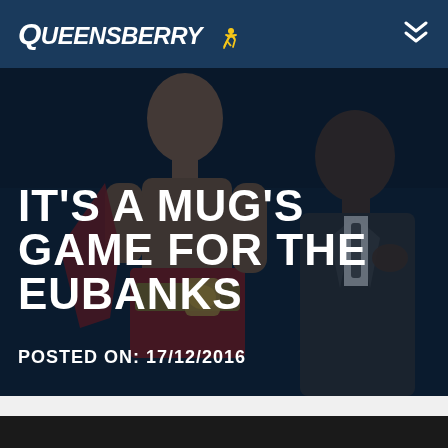Queensberry
[Figure (photo): Two boxers, one younger in the foreground wearing boxing trunks with a championship belt, and an older man in a suit in the background, both appearing in a dark-toned boxing venue setting.]
IT'S A MUG'S GAME FOR THE EUBANKS
POSTED ON: 17/12/2016